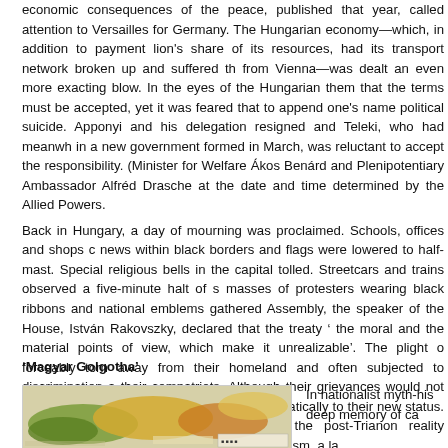economic consequences of the peace, published that year, called attention to Versailles for Germany. The Hungarian economy—which, in addition to payment lion's share of its resources, had its transport network broken up and suffered th from Vienna—was dealt an even more exacting blow. In the eyes of the Hungarian them that the terms must be accepted, yet it was feared that to append one's name political suicide. Apponyi and his delegation resigned and Teleki, who had meanwh in a new government formed in March, was reluctant to accept the responsibility. (Minister for Welfare Ákos Benárd and Plenipotentiary Ambassador Alfréd Drasche at the date and time determined by the Allied Powers.
Back in Hungary, a day of mourning was proclaimed. Schools, offices and shops c news within black borders and flags were lowered to half-mast. Special religious bells in the capital tolled. Streetcars and trains observed a five-minute halt of s masses of protesters wearing black ribbons and national emblems gathered Assembly, the speaker of the House, István Rakovszky, declared that the treaty ' the moral and the material points of view, which make it unrealizable'. The plight o forceably torn away from their homeland and often subjected to discrimination a their compatriots. Although their grievances would not disappear, these communi themselves pragmatically to their new status. In contrast, independent Hungary's with the post-Trianon reality constructed, through embracement of irredentism, a la
'Magyar Golgotha'
[Figure (map): A historical map of Hungary/Carpathian region, showing territorial divisions with colored regions (yellows, greens, oranges). Small legend symbols visible at bottom right of map.]
In nationalist myth-his deep memory of ca